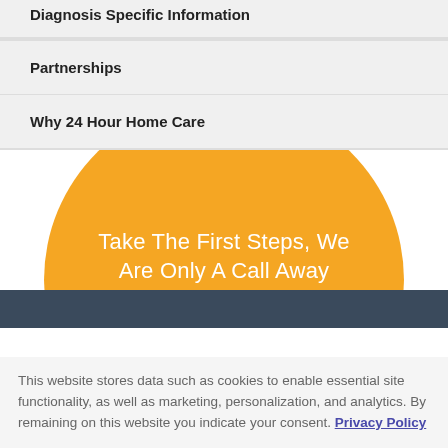Diagnosis Specific Information
Partnerships
Why 24 Hour Home Care
[Figure (illustration): Orange semicircle/circle graphic with white centered text reading 'Take The First Steps, We Are Only A Call Away' over a dark teal band at the bottom]
This website stores data such as cookies to enable essential site functionality, as well as marketing, personalization, and analytics. By remaining on this website you indicate your consent. Privacy Policy